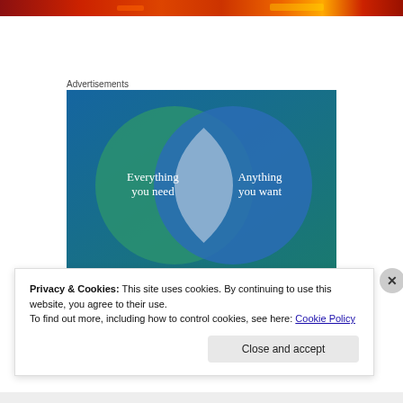[Figure (photo): Top decorative image strip with fiery red, orange, and yellow tones suggesting flames or heat]
Advertisements
[Figure (infographic): Venn diagram advertisement on blue/teal background with two overlapping circles. Left circle (teal/green): 'Everything you need'. Right circle (blue): 'Anything you want'. Overlapping area is light blue/grey.]
Privacy & Cookies: This site uses cookies. By continuing to use this website, you agree to their use.
To find out more, including how to control cookies, see here: Cookie Policy
Close and accept